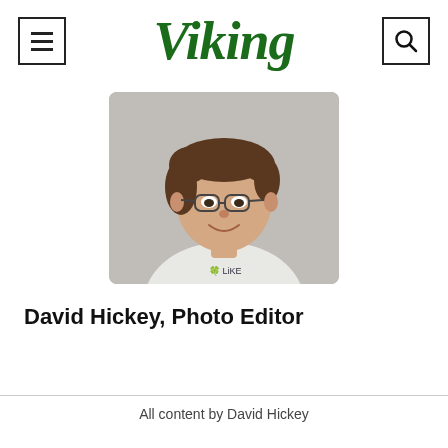Viking
[Figure (photo): Headshot of David Hickey, a young man with brown hair and glasses, wearing a white shirt, smiling against a grey background.]
David Hickey, Photo Editor
All content by David Hickey